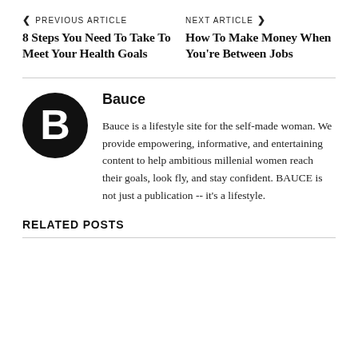◀ PREVIOUS ARTICLE    NEXT ARTICLE ▶
8 Steps You Need To Take To Meet Your Health Goals
How To Make Money When You're Between Jobs
Bauce
Bauce is a lifestyle site for the self-made woman. We provide empowering, informative, and entertaining content to help ambitious millenial women reach their goals, look fly, and stay confident. BAUCE is not just a publication -- it's a lifestyle.
RELATED POSTS